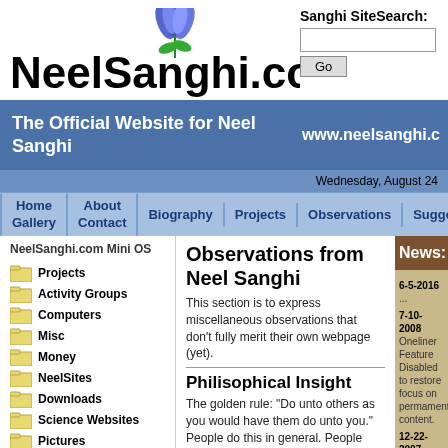[Figure (logo): NeelSanghi.com logo with blue flower above the text]
Sanghi SiteSearch:
[Figure (screenshot): Search box with Go button]
The Official Website for Neel Sanghi
www.neelsanghi.c
Wednesday, August 24
Home Gallery | About Contact | Biography | Projects | Observations | Suggestions
NeelSanghi.com Mini OS
Projects
Activity Groups
Computers
Misc
Money
NeelSites
Downloads
Science Websites
Pictures
Visitor Uploads
Sounds
Domes
Forms
Print Spools
Observations from Neel Sanghi
This section is to express miscellaneous observations that don't fully merit their own webpage (yet).
Philisophical Insight
The golden rule: "Do unto others as you would have them do unto you." People do this in general. People treat others not necessarily the way the want to be
News:
6-5-2016
...
7-10-2008
Oneliner Feature Disabled to restore focus on permament content.
12-22-2007
Added Oneliner Feature
12-10-2007
Neelsanghi.com is being re-evaluated
5-1-2007
Auxilary send-to feature functioning on Sanghi IT web-to-cell
4-27-2007
NeelSanghi.com Exploran